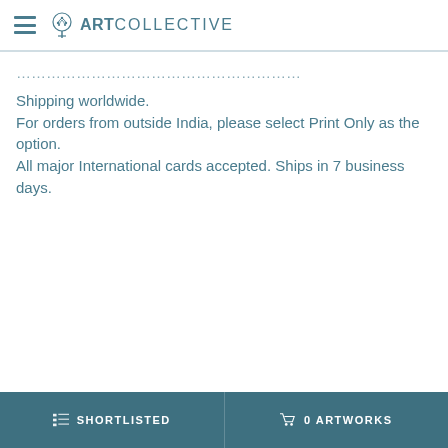ArtCollective
Shipping worldwide.
For orders from outside India, please select Print Only as the option.
All major International cards accepted. Ships in 7 business days.
SHORTLISTED  0 ARTWORKS